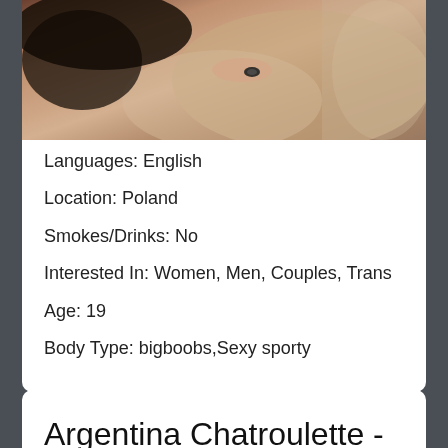[Figure (photo): Partial photo of a person lying down, dark hair visible, neutral/beige background]
Languages: English
Location: Poland
Smokes/Drinks: No
Interested In: Women, Men, Couples, Trans
Age: 19
Body Type: bigboobs,Sexy sporty
Argentina Chatroulette -